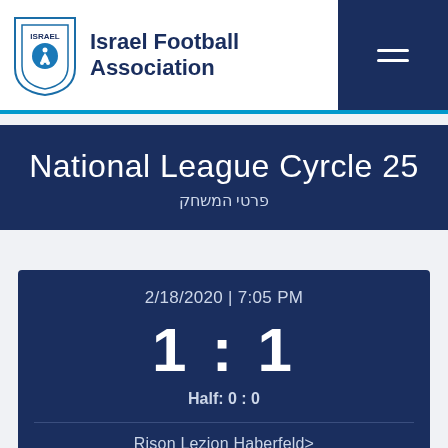[Figure (logo): Israel Football Association logo with shield and text]
National League Cyrcle 25
פרטי המשחק
2/18/2020 | 7:05 PM
1 : 1
Half: 0 : 0
Rison Lezion Haberfeld>